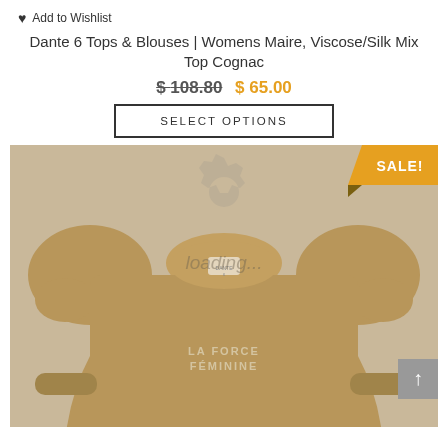Add to Wishlist
Dante 6 Tops & Blouses | Womens Maire, Viscose/Silk Mix Top Cognac
$ 108.80  $ 65.00
SELECT OPTIONS
[Figure (photo): Photo of a tan/cognac colored long-sleeve top with puffed shoulders, round neckline, and text 'LA FORCE FÉMININE' on the front. A SALE! badge is shown in the top right corner. A loading watermark and gear icon overlay the image.]